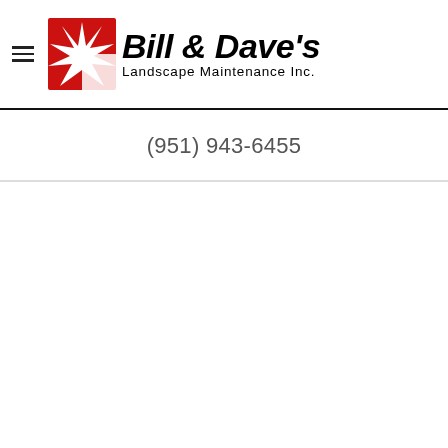Bill & Dave's Landscape Maintenance Inc. — (hamburger menu icon + logo)
(951) 943-6455